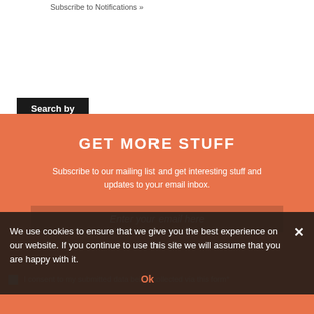Subscribe to Notifications »
Search by Categories
Select Category
GET MORE STUFF
Subscribe to our mailing list and get interesting stuff and updates to your email inbox.
Enter your email here
We use cookies to ensure that we give you the best experience on our website. If you continue to use this site we will assume that you are happy with it.
Ok
I consent to my submitted data being collected via this form*